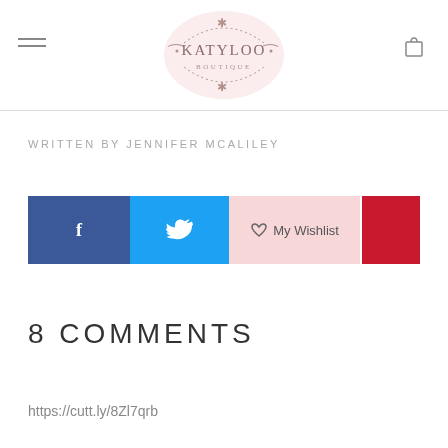[Figure (logo): Katyloo Boutique ornate logo with decorative flourishes in rose/pink tones]
WRITTEN BY JENNIFER MCALILEY
[Figure (infographic): Social share bar with Facebook (blue), Twitter (cyan), My Wishlist (pink heart), and Pinterest (red) buttons]
8 COMMENTS
https://cutt.ly/8Zl7qrb